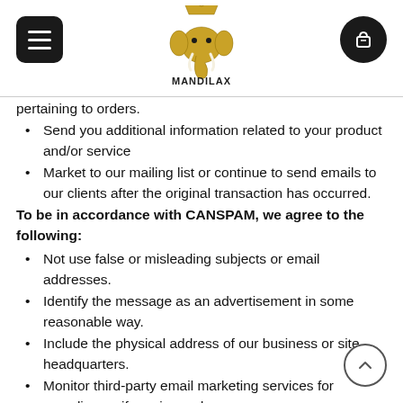MANDILAX logo with menu and cart buttons
pertaining to orders.
Send you additional information related to your product and/or service
Market to our mailing list or continue to send emails to our clients after the original transaction has occurred.
To be in accordance with CANSPAM, we agree to the following:
Not use false or misleading subjects or email addresses.
Identify the message as an advertisement in some reasonable way.
Include the physical address of our business or site headquarters.
Monitor third-party email marketing services for compliance, if one is used.
Honor opt-out/unsubscribe requests quickly.